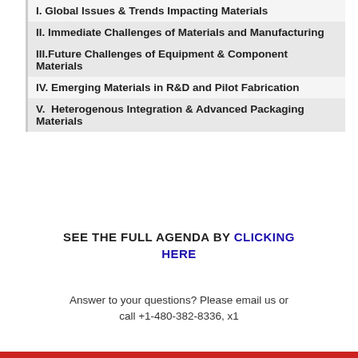I. Global Issues & Trends Impacting Materials
II. Immediate Challenges of Materials and Manufacturing
III.Future Challenges of Equipment & Component Materials
IV. Emerging Materials in R&D and Pilot Fabrication
V.  Heterogenous Integration & Advanced Packaging Materials
SEE THE FULL AGENDA BY CLICKING HERE
Answer to your questions? Please email us or call +1-480-382-8336, x1